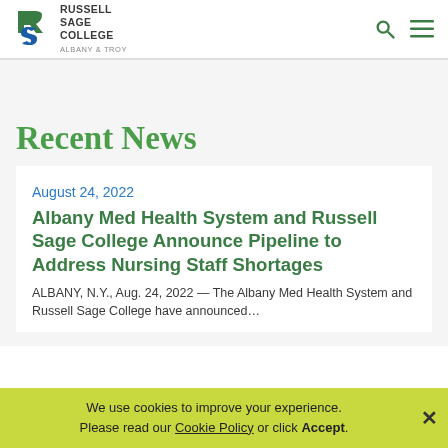Russell Sage College Albany & Troy
Recent News
August 24, 2022
Albany Med Health System and Russell Sage College Announce Pipeline to Address Nursing Staff Shortages
ALBANY, N.Y., Aug. 24, 2022 — The Albany Med Health System and Russell Sage College have announced...
We use cookies to improve your experience. Please read our Cookie Policy or click Accept.